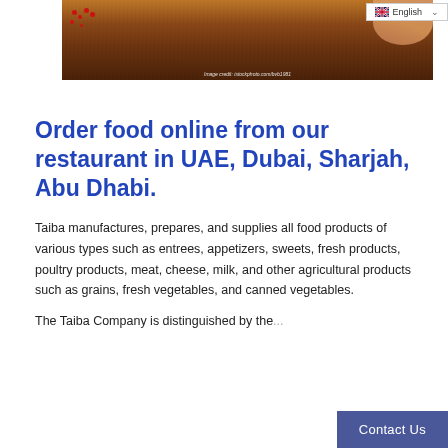[Figure (photo): Food photo showing items on a wooden board with red berries, with image credit text at bottom reading 'Image credit: istockphoto.com/bvb1981']
Order food online from our restaurant in UAE, Dubai, Sharjah, Abu Dhabi.
Taiba manufactures, prepares, and supplies all food products of various types such as entrees, appetizers, sweets, fresh products, poultry products, meat, cheese, milk, and other agricultural products such as grains, fresh vegetables, and canned vegetables.
The Taiba Company is distinguished by the...